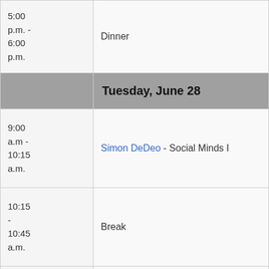| Time | Event |
| --- | --- |
| 5:00 p.m. - 6:00 p.m. | Dinner |
| Tuesday, June 28 |  |
| 9:00 a.m - 10:15 a.m. | Simon DeDeo - Social Minds I |
| 10:15 - 10:45 a.m. | Break |
| 10:45 am - 12:00 p.m. | Simon DeDeo - Social Minds II |